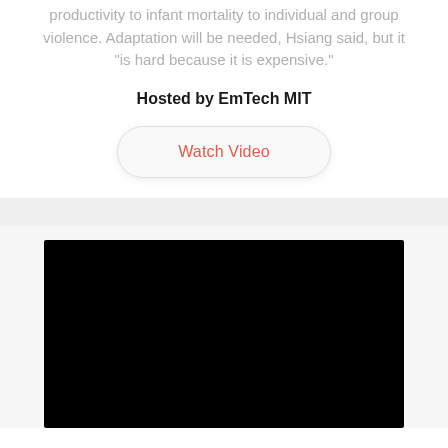productivity to infant mortality to individual and group violence. Adaptation will be needed, Hsiang said, but it "is hard because it is expensive."
Hosted by EmTech MIT
Watch Video
[Figure (screenshot): Black video player placeholder rectangle]